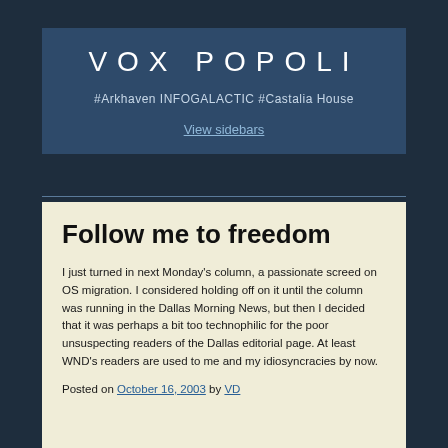VOX POPOLI
#Arkhaven INFOGALACTIC #Castalia House
View sidebars
Follow me to freedom
I just turned in next Monday's column, a passionate screed on OS migration. I considered holding off on it until the column was running in the Dallas Morning News, but then I decided that it was perhaps a bit too technophilic for the poor unsuspecting readers of the Dallas editorial page. At least WND's readers are used to me and my idiosyncracies by now.
Posted on October 16, 2003 by VD